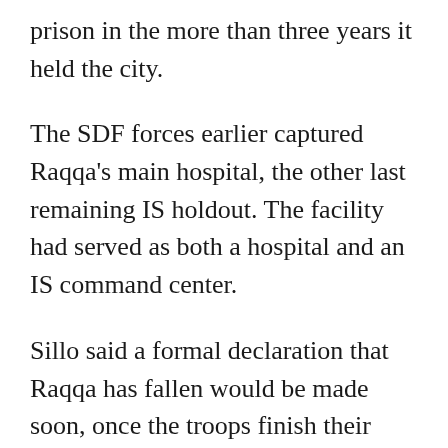prison in the more than three years it held the city.
The SDF forces earlier captured Raqqa's main hospital, the other last remaining IS holdout. The facility had served as both a hospital and an IS command center.
Sillo said a formal declaration that Raqqa has fallen would be made soon, once the troops finish their clearing operations in the city on the banks of the Euphrates River. The city is still full of land mines, one of which killed the head of the internal security force affiliated with the SDF